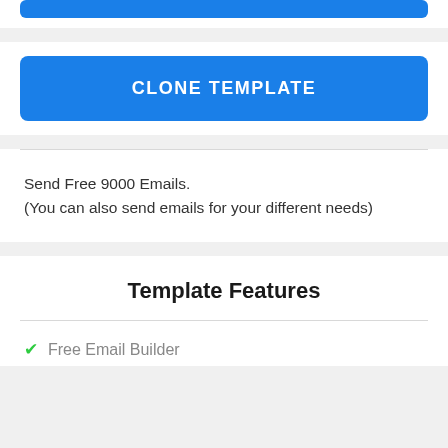[Figure (other): Blue button stub at the top (partial, cropped)]
CLONE TEMPLATE
Send Free 9000 Emails.
(You can also send emails for your different needs)
Template Features
Free Email Builder